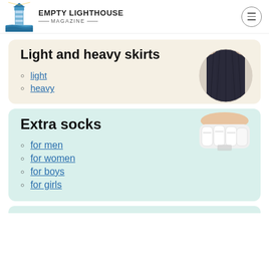EMPTY LIGHTHOUSE MAGAZINE
Light and heavy skirts
[Figure (photo): A long dark navy skirt being held up by hands, shown in a circular crop]
light
heavy
Extra socks
[Figure (photo): A bundle of white ankle socks]
for men
for women
for boys
for girls